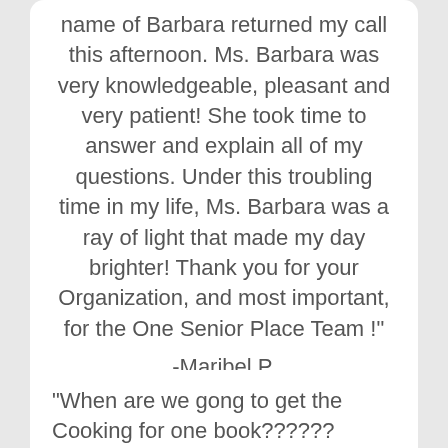name of Barbara returned my call this afternoon. Ms. Barbara was very knowledgeable, pleasant and very patient! She took time to answer and explain all of my questions. Under this troubling time in my life, Ms. Barbara was a ray of light that made my day brighter! Thank you for your Organization, and most important, for the One Senior Place Team !"
-Maribel P.
[Figure (other): Five gold star rating icons]
"When are we gong to get the Cooking for one book?????? When are we going